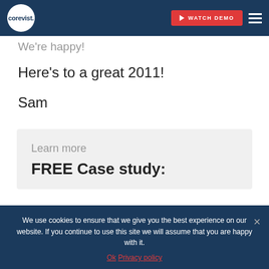corevist. | WATCH DEMO
We're happy!
Here's to a great 2011!
Sam
Learn more
FREE Case study:
We use cookies to ensure that we give you the best experience on our website. If you continue to use this site we will assume that you are happy with it.
Ok   Privacy policy